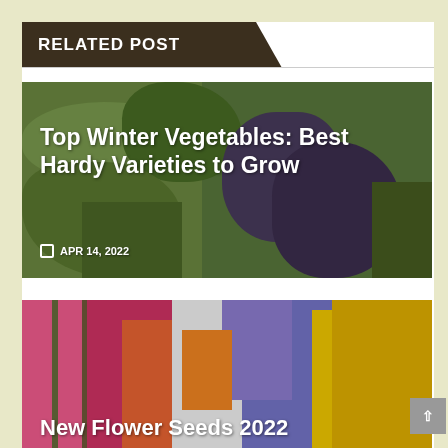RELATED POST
[Figure (photo): Garden with green and purple winter vegetables including lettuce and cabbage varieties]
Top Winter Vegetables: Best Hardy Varieties to Grow
APR 14, 2022
[Figure (photo): Colorful flower garden with pink snapdragons, purple flowers, and yellow marigolds]
New Flower Seeds 2022